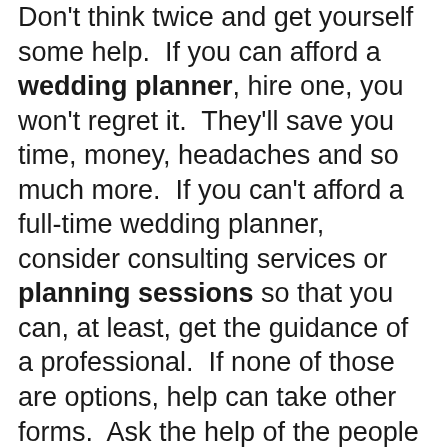Don't think twice and get yourself some help.  If you can afford a wedding planner, hire one, you won't regret it.  They'll save you time, money, headaches and so much more.  If you can't afford a full-time wedding planner, consider consulting services or planning sessions so that you can, at least, get the guidance of a professional.  If none of those are options, help can take other forms.  Ask the help of the people you trust and are responsible like your wedding party, your friends, or your family.  They don't have to take on big tasks, but maybe smaller and easier ones just to lessen the load, like helping you to put together your favors or finding your veil.  Or you can hire a TaskRabbit or a personal assistant for a short time to do some wedding research for you, buy some DIY items or have them take care of your everyday stuff like picking up your dry cleaning.  Don't drown in all the things you need to do, get yourself some support, it will make wedding